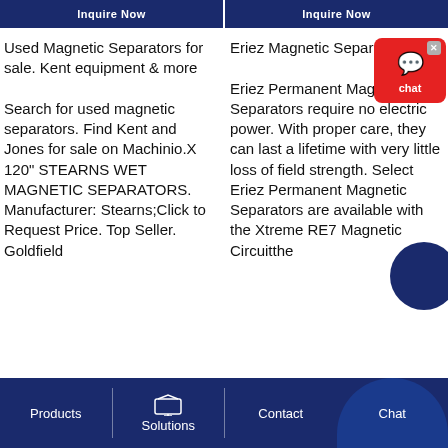Inquire Now | Inquire Now
Used Magnetic Separators for sale. Kent equipment & more
Search for used magnetic separators. Find Kent and Jones for sale on Machinio.X 120" STEARNS WET MAGNETIC SEPARATORS. Manufacturer: Stearns;Click to Request Price. Top Seller. Goldfield
Eriez Magnetic Separation
Eriez Permanent Magnetic Separators require no electric power. With proper care, they can last a lifetime with very little loss of field strength. Select Eriez Permanent Magnetic Separators are available with the Xtreme RE7 Magnetic Circuitthe
Products | Solutions | Contact | Chat